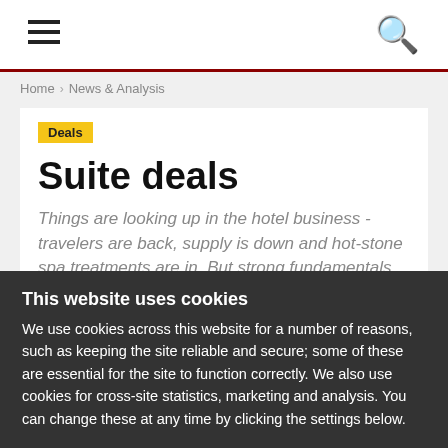≡  🔍
Home › News & Analysis
Deals
Suite deals
Things are looking up in the hotel business - travelers are back, supply is down and hot-stone spa treatments are in. But strong fundamentals alone don't make hospitality a walk in the park. By Aaron Lovell
This website uses cookies
We use cookies across this website for a number of reasons, such as keeping the site reliable and secure; some of these are essential for the site to function correctly. We also use cookies for cross-site statistics, marketing and analysis. You can change these at any time by clicking the settings below.